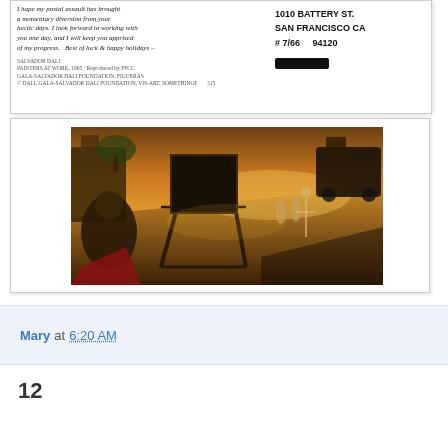[Figure (photo): Scanned postcard back showing handwritten message on left and mailing address on right. Address reads: 1010 BATTERY ST. SAN FRANCISCO CA #7/66   94120. The signature/name is redacted with a black rectangle. Handwritten text says: I hope my postal assault has brought a momentary diversion from your hectic days. I look forward to working with you one day, and I will keep you apprised of my progress. Best of luck & happy holidays -]
[Figure (photo): Reproduction of a Salvador Dali surrealist painting showing a painter at an easel in a vast desert landscape with golden-orange tones. Various surrealist figures and skeletal forms appear in the background. The painter is seated on the left side, and the large canvas on an easel dominates the center. A red draped figure appears at the lower left.]
Mary at 6:20 AM